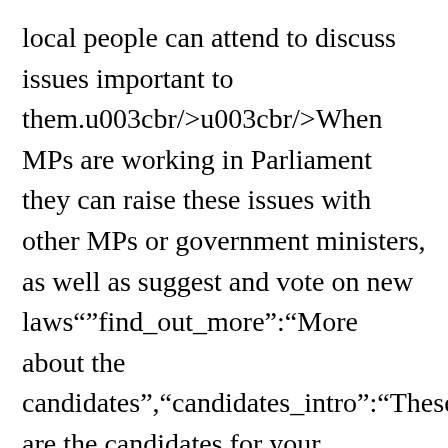local people can attend to discuss issues important to them.u003cbr/>u003cbr/>When MPs are working in Parliament they can raise these issues with other MPs or government ministers, as well as suggest and vote on new laws","find_out_more":"More about the candidates","candidates_intro":"These are the candidates for your area","parties_intro":"These are the parties for your area","party":"Party","candidate":"Candidate","result_winner":"The winning candidate is:","results_pending":"Results pending","results_link-text":"See full